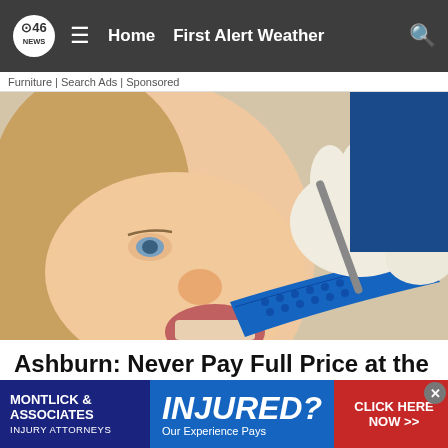CBS46 NEWS | Home | First Alert Weather
Furniture | Search Ads | Sponsored
[Figure (photo): Close-up of a woman receiving dental treatment, a dentist in white gloves holding a blue dental tray/mold near her open mouth]
Ashburn: Never Pay Full Price at the Dentist Again
Dentists - S...
[Figure (advertisement): Ad banner for Montlick & Associates Injury Attorneys: 'INJURED? Our Experience Pays. CLICK HERE NOW >>']